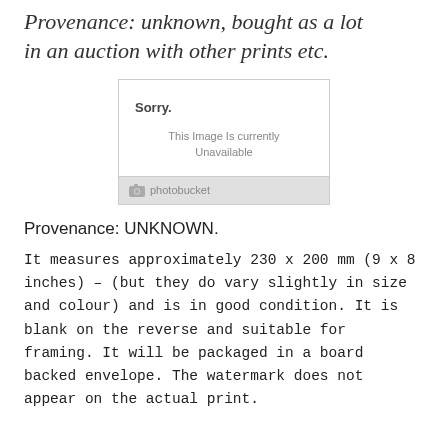Provenance: unknown, bought as a lot in an auction with other prints etc.
[Figure (screenshot): Photobucket placeholder image showing 'Sorry. This Image Is currently Unavailable' with Photobucket logo footer]
Provenance: UNKNOWN.
It measures approximately 230 x 200 mm (9 x 8 inches) – (but they do vary slightly in size and colour) and is in good condition. It is blank on the reverse and suitable for framing. It will be packaged in a board backed envelope. The watermark does not appear on the actual print.